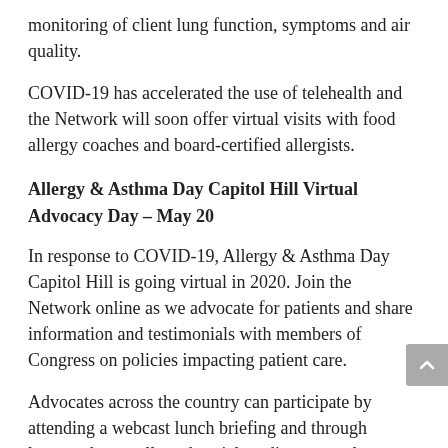monitoring of client lung function, symptoms and air quality.
COVID-19 has accelerated the use of telehealth and the Network will soon offer virtual visits with food allergy coaches and board-certified allergists.
Allergy & Asthma Day Capitol Hill Virtual Advocacy Day – May 20
In response to COVID-19, Allergy & Asthma Day Capitol Hill is going virtual in 2020. Join the Network online as we advocate for patients and share information and testimonials with members of Congress on policies impacting patient care.
Advocates across the country can participate by attending a webcast lunch briefing and through letters, phone calls and social media posts to let your voice be heard.
The Network's 2020 federal platform addresses key